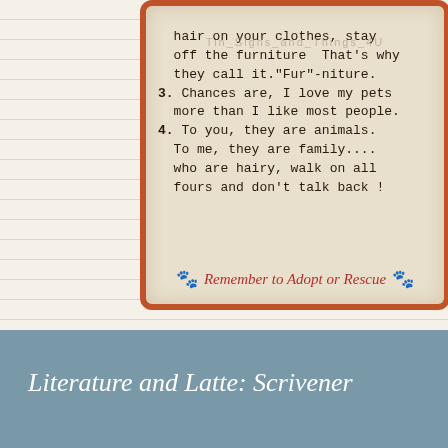[Figure (photo): Photo of a vintage tin sign with pet rules, showing numbered items about pet hair on furniture, loving pets more than people, pets as family, and a handwritten-style red text 'Remember to Adopt or Rescue' with paw print icons.]
Literature and Latte: Scrivener